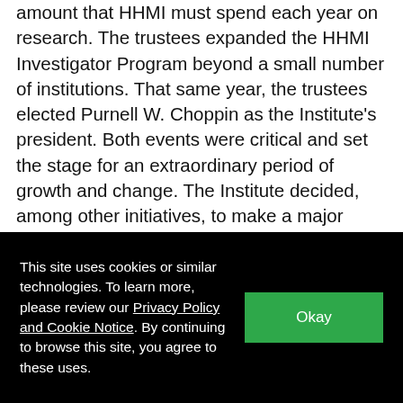amount that HHMI must spend each year on research. The trustees expanded the HHMI Investigator Program beyond a small number of institutions. That same year, the trustees elected Purnell W. Choppin as the Institute's president. Both events were critical and set the stage for an extraordinary period of growth and change. The Institute decided, among other initiatives, to make a major investment in structural biology, to help with the initial funding for the sequencing of the human genome, and to create a separate grants program.
[Figure (photo): Exterior photo of a building with curved architectural features against a blue sky with clouds.]
This site uses cookies or similar technologies. To learn more, please review our Privacy Policy and Cookie Notice. By continuing to browse this site, you agree to these uses.